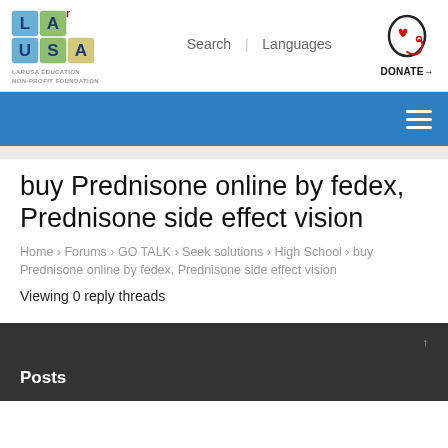[Figure (logo): LARUSA Education Non-Profit Foundation logo with colorful building block letters L, A, U, S, A]
Search | Languages
[Figure (logo): Donate button with heart/head icon in red and black]
buy Prednisone online by fedex, Prednisone side effect vision
Home › Forums › GO TALK › Seek solutions › High School › buy Prednisone online by fedex, Prednisone side effect vision
Viewing 0 reply threads
Posts